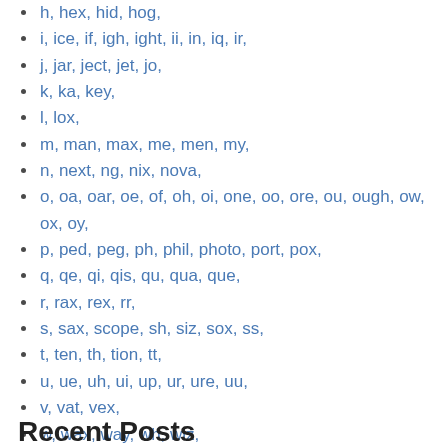h, hex, hid, hog,
i, ice, if, igh, ight, ii, in, iq, ir,
j, jar, ject, jet, jo,
k, ka, key,
l, lox,
m, man, max, me, men, my,
n, next, ng, nix, nova,
o, oa, oar, oe, of, oh, oi, one, oo, ore, ou, ough, ow, ox, oy,
p, ped, peg, ph, phil, photo, port, pox,
q, qe, qi, qis, qu, qua, que,
r, rax, rex, rr,
s, sax, scope, sh, siz, sox, ss,
t, ten, th, tion, tt,
u, ue, uh, ui, up, ur, ure, uu,
v, vat, vex,
w, wax, way, wh, wiz,
x, xi, xu,
y, yo,
z, za, zee, zo
Recent Posts